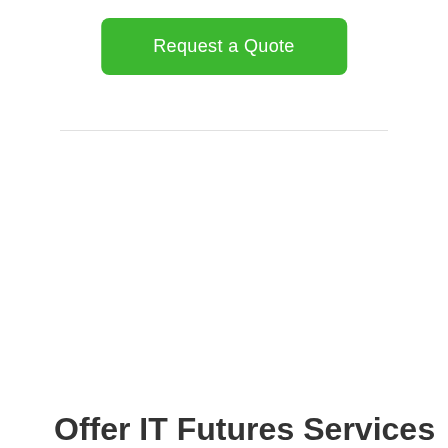Request a Quote
Offer IT Futures Services